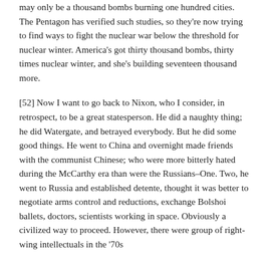may only be a thousand bombs burning one hundred cities. The Pentagon has verified such studies, so they're now trying to find ways to fight the nuclear war below the threshold for nuclear winter. America's got thirty thousand bombs, thirty times nuclear winter, and she's building seventeen thousand more.
[52] Now I want to go back to Nixon, who I consider, in retrospect, to be a great statesperson. He did a naughty thing; he did Watergate, and betrayed everybody. But he did some good things. He went to China and overnight made friends with the communist Chinese; who were more bitterly hated during the McCarthy era than were the Russians–One. Two, he went to Russia and established detente, thought it was better to negotiate arms control and reductions, exchange Bolshoi ballets, doctors, scientists working in space. Obviously a civilized way to proceed. However, there were group of right-wing intellectuals in the '70s